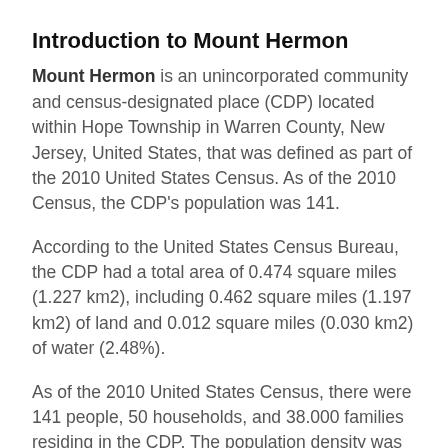Introduction to Mount Hermon
Mount Hermon is an unincorporated community and census-designated place (CDP) located within Hope Township in Warren County, New Jersey, United States, that was defined as part of the 2010 United States Census. As of the 2010 Census, the CDP's population was 141.
According to the United States Census Bureau, the CDP had a total area of 0.474 square miles (1.227 km2), including 0.462 square miles (1.197 km2) of land and 0.012 square miles (0.030 km2) of water (2.48%).
As of the 2010 United States Census, there were 141 people, 50 households, and 38.000 families residing in the CDP. The population density was 305.1 per square mile (117.8/km2). There were 54